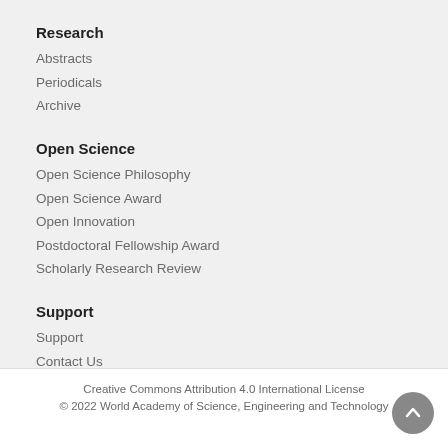Research
Abstracts
Periodicals
Archive
Open Science
Open Science Philosophy
Open Science Award
Open Innovation
Postdoctoral Fellowship Award
Scholarly Research Review
Support
Support
Contact Us
Report Abuse
Creative Commons Attribution 4.0 International License
© 2022 World Academy of Science, Engineering and Technology